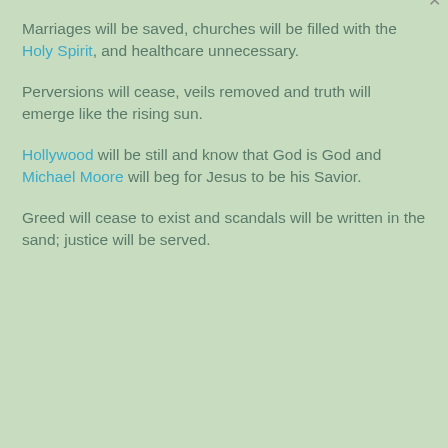Marriages will be saved, churches will be filled with the Holy Spirit, and healthcare unnecessary.
Perversions will cease, veils removed and truth will emerge like the rising sun.
Hollywood will be still and know that God is God and Michael Moore will beg for Jesus to be his Savior.
Greed will cease to exist and scandals will be written in the sand; justice will be served.
Privacy & Cookies: This site uses cookies. By continuing to use this website, you agree to their use. To find out more, including how to control cookies, see here: Cookie Policy